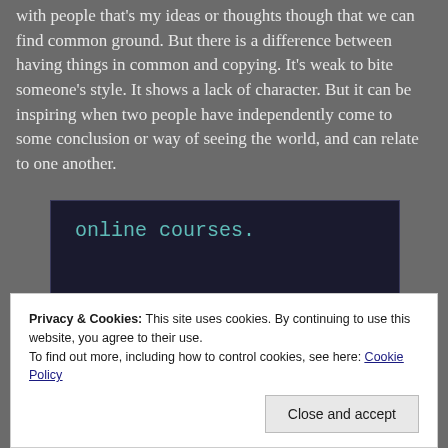with people that's my ideas or thoughts though that we can find common ground. But there is a difference between having things in common and copying. It's weak to bite someone's style. It shows a lack of character. But it can be inspiring when two people have independently come to some conclusion or way of seeing the world, and can relate to one another.
[Figure (screenshot): Dark-themed box showing the text 'online courses.' in teal/cyan monospace font on a near-black background]
Privacy & Cookies: This site uses cookies. By continuing to use this website, you agree to their use.
To find out more, including how to control cookies, see here: Cookie Policy